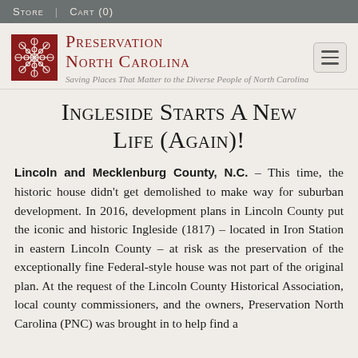Store | Cart (0)
[Figure (logo): Preservation North Carolina logo with decorative red floral square icon and small-caps serif text. Tagline: Saving Places That Matter to the Diverse People of North Carolina]
Ingleside Starts A New Life (Again)!
LINCOLN AND MECKLENBURG COUNTY, N.C. – This time, the historic house didn't get demolished to make way for suburban development. In 2016, development plans in Lincoln County put the iconic and historic Ingleside (1817) – located in Iron Station in eastern Lincoln County – at risk as the preservation of the exceptionally fine Federal-style house was not part of the original plan. At the request of the Lincoln County Historical Association, local county commissioners, and the owners, Preservation North Carolina (PNC) was brought in to help find a